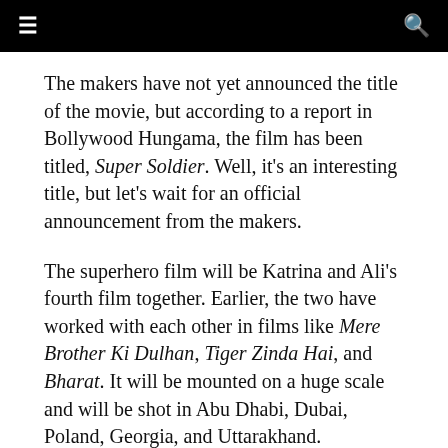≡  🔍
The makers have not yet announced the title of the movie, but according to a report in Bollywood Hungama, the film has been titled, Super Soldier. Well, it's an interesting title, but let's wait for an official announcement from the makers.
The superhero film will be Katrina and Ali's fourth film together. Earlier, the two have worked with each other in films like Mere Brother Ki Dulhan, Tiger Zinda Hai, and Bharat. It will be mounted on a huge scale and will be shot in Abu Dhabi, Dubai, Poland, Georgia, and Uttarakhand.
While talking to Hindustan Times, Ali had